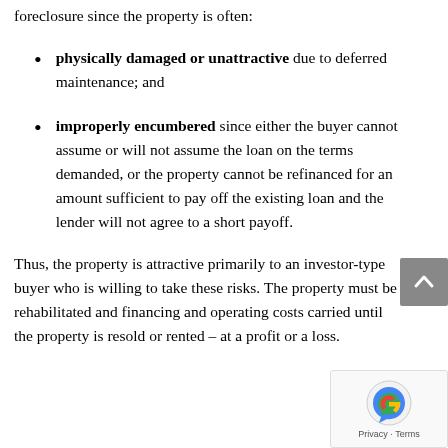foreclosure since the property is often:
physically damaged or unattractive due to deferred maintenance; and
improperly encumbered since either the buyer cannot assume or will not assume the loan on the terms demanded, or the property cannot be refinanced for an amount sufficient to pay off the existing loan and the lender will not agree to a short payoff.
Thus, the property is attractive primarily to an investor-type buyer who is willing to take these risks. The property must be rehabilitated and financing and operating costs carried until the property is resold or rented – at a profit or a loss.